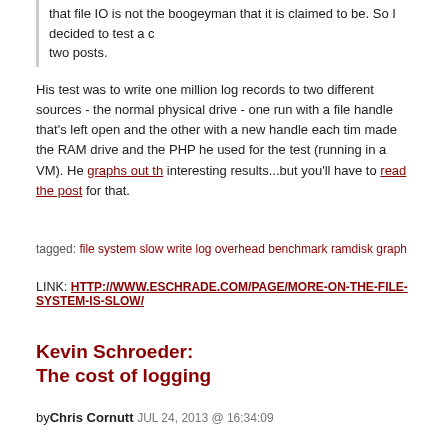that file IO is not the boogeyman that it is claimed to be. So I decided to test a couple two posts.
His test was to write one million log records to two different sources - the normal physical drive - one run with a file handle that's left open and the other with a new handle each time made the RAM drive and the PHP he used for the test (running in a VM). He graphs out th interesting results...but you'll have to read the post for that.
tagged: file system slow write log overhead benchmark ramdisk graph
LINK: HTTP://WWW.ESCHRADE.COM/PAGE/MORE-ON-THE-FILE-SYSTEM-IS-SLOW/
Kevin Schroeder:
The cost of logging
byChris Cornutt JUL 24, 2013 @ 16:34:09
Kevin Schroeder has a new post to his site looking at the cost of logging in web applications about the theory behind what to log and when to log as it is the actual performance hit various take on your app.
So, I was having a discussion with a person I respect about logging and they noticed logging poses a prohibitive cost from a performance perspective. This seemed and so I decided to run a quick series of benchmarks on my own system.